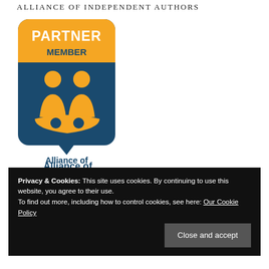ALLIANCE OF INDEPENDENT AUTHORS
[Figure (logo): Alliance of Independent Authors Partner Member badge — rounded rectangle with orange top section labeled PARTNER MEMBER in white bold text, dark teal bottom section with orange icon of two figures holding an open book, and text below reading Alliance of Independent Authors in dark teal.]
Privacy & Cookies: This site uses cookies. By continuing to use this website, you agree to their use.
To find out more, including how to control cookies, see here: Our Cookie Policy
Close and accept